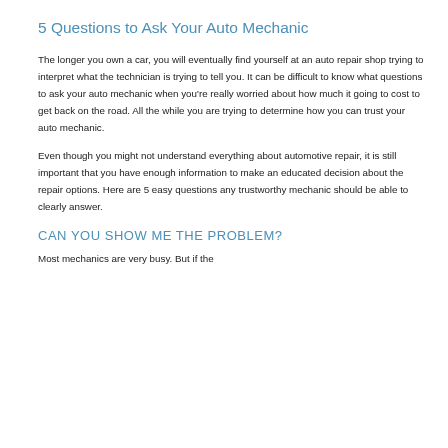5 Questions to Ask Your Auto Mechanic
The longer you own a car, you will eventually find yourself at an auto repair shop trying to interpret what the technician is trying to tell you. It can be difficult to know what questions to ask your auto mechanic when you're really worried about how much it going to cost to get back on the road. All the while you are trying to determine how you can trust your auto mechanic.
Even though you might not understand everything about automotive repair, it is still important that you have enough information to make an educated decision about the repair options. Here are 5 easy questions any trustworthy mechanic should be able to clearly answer.
CAN YOU SHOW ME THE PROBLEM?
Most mechanics are very busy. But if the